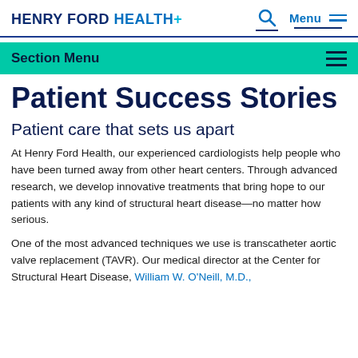HENRY FORD HEALTH+
Section Menu
Patient Success Stories
Patient care that sets us apart
At Henry Ford Health, our experienced cardiologists help people who have been turned away from other heart centers. Through advanced research, we develop innovative treatments that bring hope to our patients with any kind of structural heart disease—no matter how serious.
One of the most advanced techniques we use is transcatheter aortic valve replacement (TAVR). Our medical director at the Center for Structural Heart Disease, William W. O'Neill, M.D.,